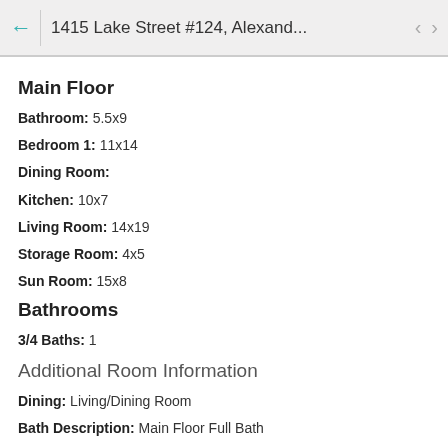1415 Lake Street #124, Alexand...
Main Floor
Bathroom: 5.5x9
Bedroom 1: 11x14
Dining Room:
Kitchen: 10x7
Living Room: 14x19
Storage Room: 4x5
Sun Room: 15x8
Bathrooms
3/4 Baths: 1
Additional Room Information
Dining: Living/Dining Room
Bath Description: Main Floor Full Bath